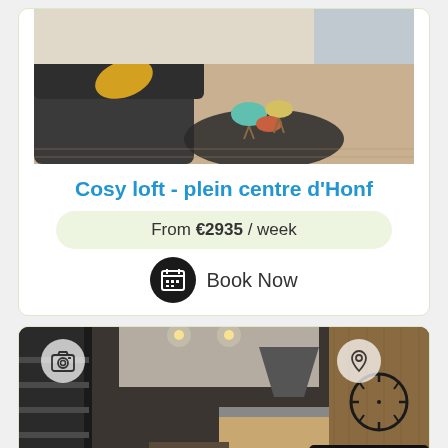[Figure (photo): Interior photo of a cosy loft living room with dark sofa, yellow pillow, round rug and colorful stools]
Cosy loft - plein centre d'Honf
From €2935 / week
Book Now
[Figure (photo): Interior photo of a loft with spiral staircase, kitchen, wooden wall panel with clock and dark leather sofa, with camera and location overlay icons]